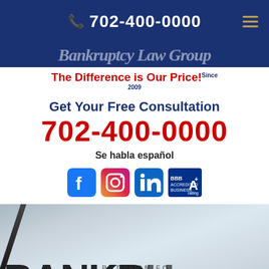702-400-0000
[Figure (logo): Law firm logo banner in navy blue with stylized text]
The Difference is Our Price! Since 2009
Get Your Free Consultation
702-400-0000
Se habla español
[Figure (infographic): Social media icons: Facebook, Instagram, LinkedIn, and BBB A+ rating badge]
[Figure (photo): Photo of a pen resting on bankruptcy petition paperwork with text reading BANKRU... and PETITION FO...]